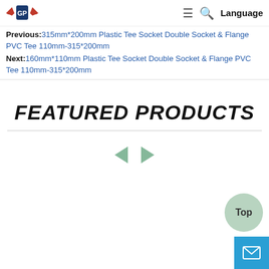GP Logo | Navigation menu | Language
Previous:315mm*200mm Plastic Tee Socket Double Socket & Flange PVC Tee 110mm-315*200mm
Next:160mm*110mm Plastic Tee Socket Double Socket & Flange PVC Tee 110mm-315*200mm
FEATURED PRODUCTS
[Figure (other): Carousel navigation arrows (left and right) in green color for featured products slider]
[Figure (other): Top button - circular mint green button with 'Top' label for scrolling to top of page]
[Figure (other): Mail/contact button - blue square button with envelope icon]